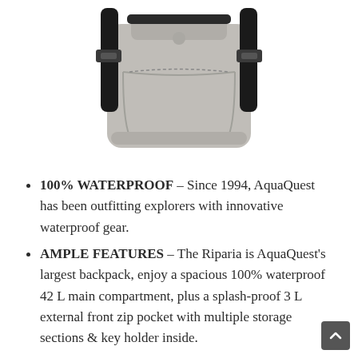[Figure (photo): Gray and black waterproof backpack (AquaQuest Riparia) photographed from the front against a white background, showing straps and buckles.]
100% WATERPROOF – Since 1994, AquaQuest has been outfitting explorers with innovative waterproof gear.
AMPLE FEATURES – The Riparia is AquaQuest's largest backpack, enjoy a spacious 100% waterproof 42 L main compartment, plus a splash-proof 3 L external front zip pocket with multiple storage sections & key holder inside.
TOUGH – Don't be fooled by its lightweight design, the Riparia is constructed of Durable 420D ripstop nylon dual-coated with heavy TPU &